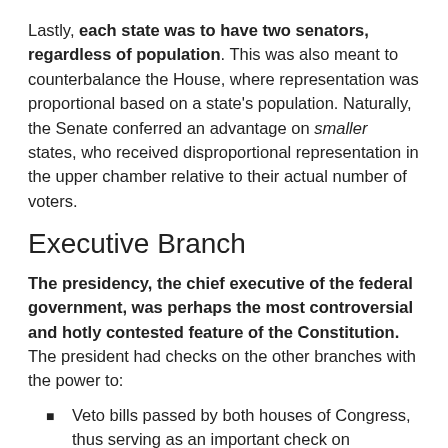Lastly, each state was to have two senators, regardless of population. This was also meant to counterbalance the House, where representation was proportional based on a state's population. Naturally, the Senate conferred an advantage on smaller states, who received disproportional representation in the upper chamber relative to their actual number of voters.
Executive Branch
The presidency, the chief executive of the federal government, was perhaps the most controversial and hotly contested feature of the Constitution. The president had checks on the other branches with the power to:
Veto bills passed by both houses of Congress, thus serving as an important check on legislative power;